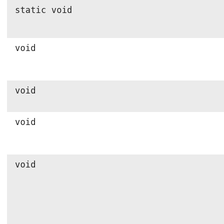static void
void
void
void
void